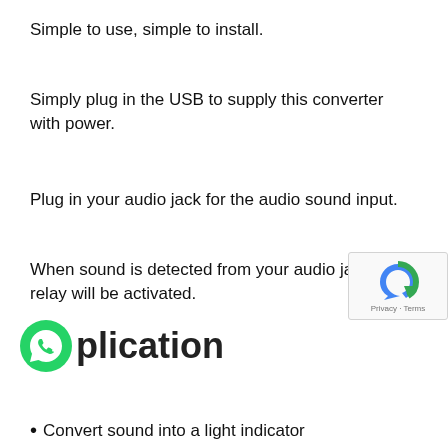Simple to use, simple to install.
Simply plug in the USB to supply this converter with power.
Plug in your audio jack for the audio sound input.
When sound is detected from your audio jack, the relay will be activated.
plication
Convert sound into a light indicator